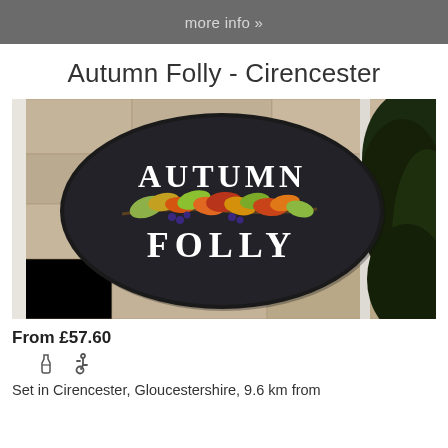more info »
Autumn Folly - Cirencester
[Figure (photo): Photo of an oval sign reading AUTUMN FOLLY with autumn leaf decorations, mounted on a stone wall with dark foliage visible on the right side.]
From £57.60
Set in Cirencester, Gloucestershire, 9.6 km from